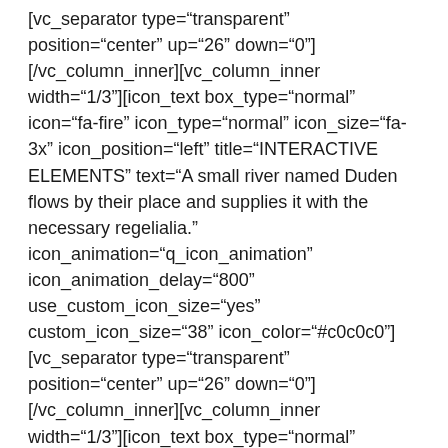[vc_separator type="transparent" position="center" up="26" down="0"] [/vc_column_inner][vc_column_inner width="1/3"][icon_text box_type="normal" icon="fa-fire" icon_type="normal" icon_size="fa-3x" icon_position="left" title="INTERACTIVE ELEMENTS" text="A small river named Duden flows by their place and supplies it with the necessary regelialia." icon_animation="q_icon_animation" icon_animation_delay="800" use_custom_icon_size="yes" custom_icon_size="38" icon_color="#c0c0c0"] [vc_separator type="transparent" position="center" up="26" down="0"] [/vc_column_inner][vc_column_inner width="1/3"][icon_text box_type="normal"